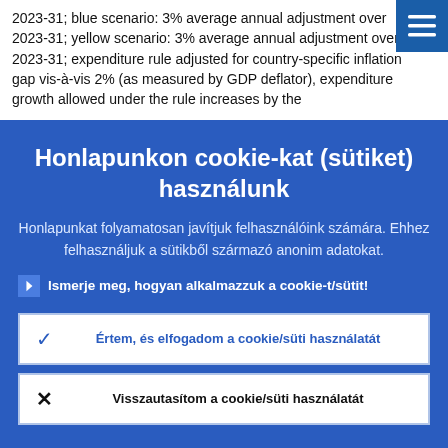2023-31; blue scenario: 3% average annual adjustment over 2023-31; yellow scenario: 3% average annual adjustment over 2023-31; expenditure rule adjusted for country-specific inflation gap vis-à-vis 2% (as measured by GDP deflator), expenditure growth allowed under the rule increases by the
Honlapunkon cookie-kat (sütiket) használunk
Honlapunkat folyamatosan javítjuk felhasználóink számára. Ehhez felhasználjuk a sütikből származó anonim adatokat.
Ismerje meg, hogyan alkalmazzuk a cookie-t/sütit!
Értem, és elfogadom a cookie/süti használatát
Visszautasítom a cookie/süti használatát